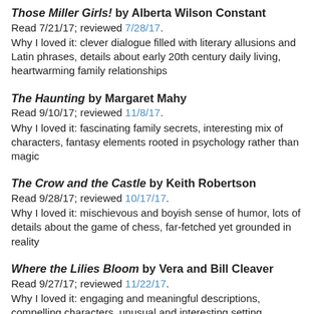Those Miller Girls! by Alberta Wilson Constant
Read 7/21/17; reviewed 7/28/17.
Why I loved it: clever dialogue filled with literary allusions and Latin phrases, details about early 20th century daily living, heartwarming family relationships
The Haunting by Margaret Mahy
Read 9/10/17; reviewed 11/8/17.
Why I loved it: fascinating family secrets, interesting mix of characters, fantasy elements rooted in psychology rather than magic
The Crow and the Castle by Keith Robertson
Read 9/28/17; reviewed 10/17/17.
Why I loved it: mischievous and boyish sense of humor, lots of details about the game of chess, far-fetched yet grounded in reality
Where the Lilies Bloom by Vera and Bill Cleaver
Read 9/27/17; reviewed 11/22/17.
Why I loved it: engaging and meaningful descriptions, compelling characters, unusual and interesting setting